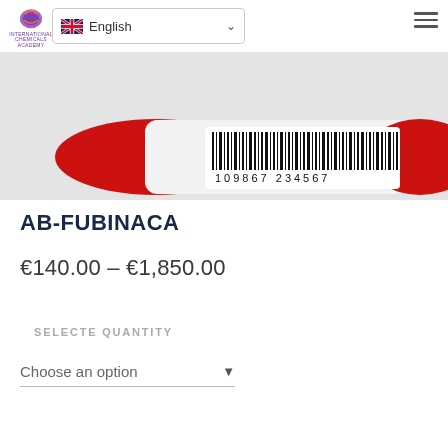English (language selector) | Hamburger menu
[Figure (photo): Product package with barcode reading 109867 234567, white packaging with red ends]
AB-FUBINACA
€140.00 – €1,850.00
SELECTE QUANTITY
Choose an option